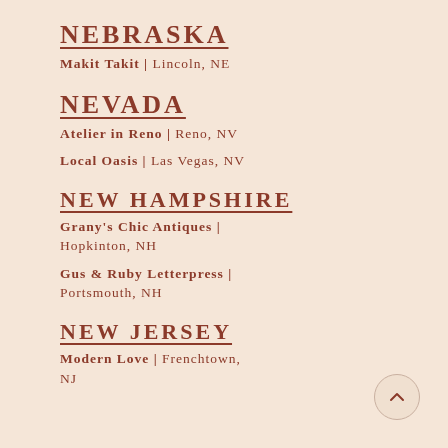NEBRASKA
Makit Takit | Lincoln, NE
NEVADA
Atelier in Reno | Reno, NV
Local Oasis | Las Vegas, NV
NEW HAMPSHIRE
Grany's Chic Antiques | Hopkinton, NH
Gus & Ruby Letterpress | Portsmouth, NH
NEW JERSEY
Modern Love | Frenchtown, NJ